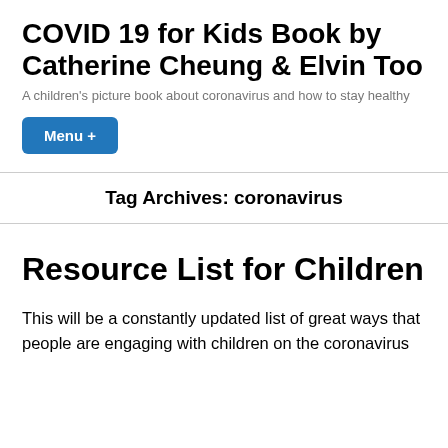COVID 19 for Kids Book by Catherine Cheung & Elvin Too
A children's picture book about coronavirus and how to stay healthy
Menu +
Tag Archives: coronavirus
Resource List for Children
This will be a constantly updated list of great ways that people are engaging with children on the coronavirus